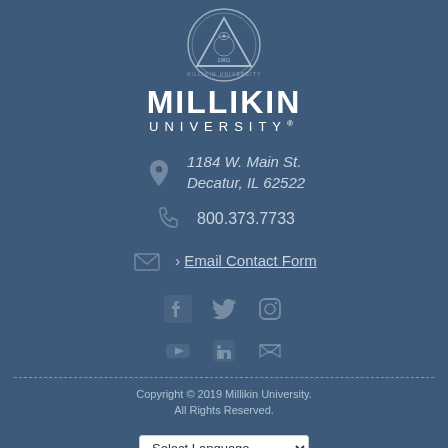[Figure (logo): Millikin University seal/crest circular logo with triangle design, 1901]
MILLIKIN UNIVERSITY®
1184 W. Main St. Decatur, IL 62522
800.373.7733
› Email Contact Form
[Figure (infographic): Social media icons: Facebook, Twitter, Instagram, YouTube, LinkedIn, and a streaming/mail icon]
Copyright © 2019 Millikin University. All Rights Reserved.
Select Language (Google Translate)